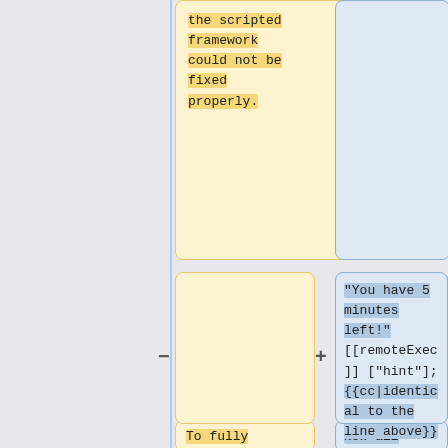the scripted framework could not be fixed properly.
"You have 5 minutes left!" [[remoteExec]] ["hint"]; {{cc|identical to the line above}}
To fully address these issues, remote execution was
Now all machines that are taking part in our multiplayer session will